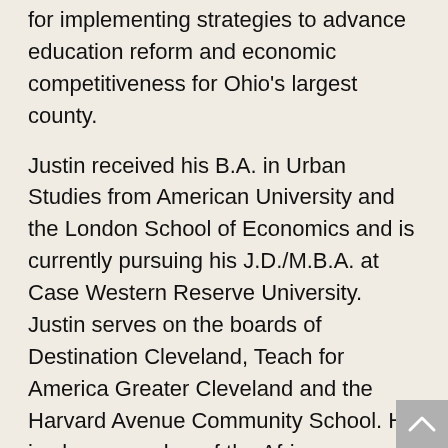for implementing strategies to advance education reform and economic competitiveness for Ohio's largest county.
Justin received his B.A. in Urban Studies from American University and the London School of Economics and is currently pursuing his J.D./M.B.A. at Case Western Reserve University. Justin serves on the boards of Destination Cleveland, Teach for America Greater Cleveland and the Harvard Avenue Community School. He is also a member of the African-American Advisory Committee at the Cleveland Museum of Art and a Co-Founder of Hack Cleveland.